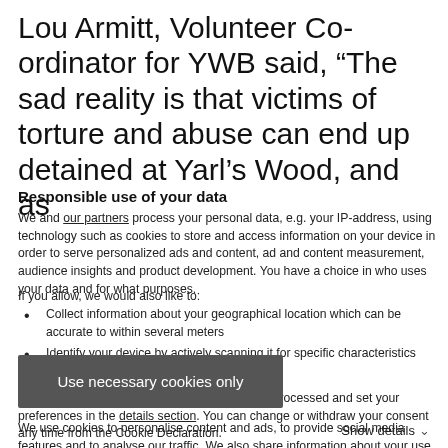Lou Armitt, Volunteer Co-ordinator for YWB said, “The sad reality is that victims of torture and abuse can end up detained at Yarl’s Wood, and as
Responsible use of your data
We and our partners process your personal data, e.g. your IP-address, using technology such as cookies to store and access information on your device in order to serve personalized ads and content, ad and content measurement, audience insights and product development. You have a choice in who uses your data and for what purposes.
If you allow, we would also like to:
Collect information about your geographical location which can be accurate to within several meters
Identify your device by actively scanning it for specific characteristics (fingerprinting)
Find out more about how your personal data is processed and set your preferences in the details section. You can change or withdraw your consent any time from the Cookie Declaration.
We use cookies to personalise content and ads, to provide social media features and to analyse our traffic. We also share information about your use of our site with our social media, advertising and analytics partners who may combine it with other information that you’ve provided to them or that they’ve collected from your use of their services.
Use necessary cookies only
Show details